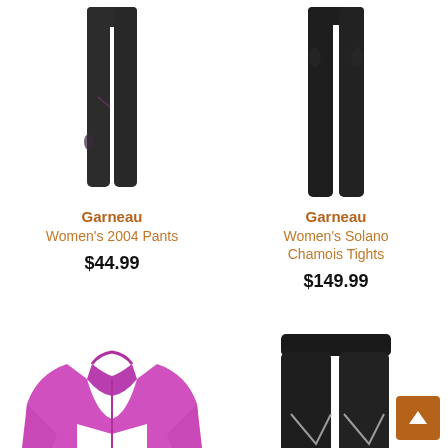[Figure (photo): Dark gray/black women's cycling tights, product 1 – Garneau Women's 2004 Pants]
Garneau
Women's 2004 Pants
$44.99
[Figure (photo): Dark black women's cycling tights, product 2 – Garneau Women's Solano Chamois Tights]
Garneau
Women's Solano Chamois Tights
$149.99
[Figure (photo): Pink/magenta women's cycling jacket]
[Figure (photo): Black women's cycling tights with reflective details]